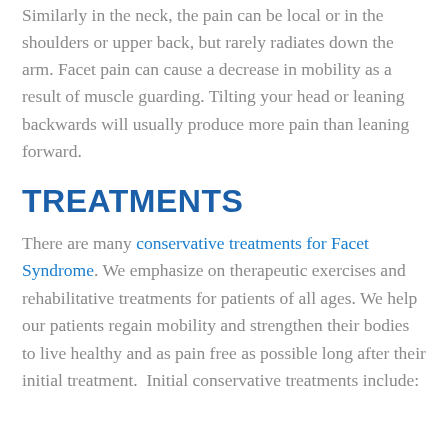Similarly in the neck, the pain can be local or in the shoulders or upper back, but rarely radiates down the arm. Facet pain can cause a decrease in mobility as a result of muscle guarding. Tilting your head or leaning backwards will usually produce more pain than leaning forward.
TREATMENTS
There are many conservative treatments for Facet Syndrome. We emphasize on therapeutic exercises and rehabilitative treatments for patients of all ages. We help our patients regain mobility and strengthen their bodies to live healthy and as pain free as possible long after their initial treatment.  Initial conservative treatments include: